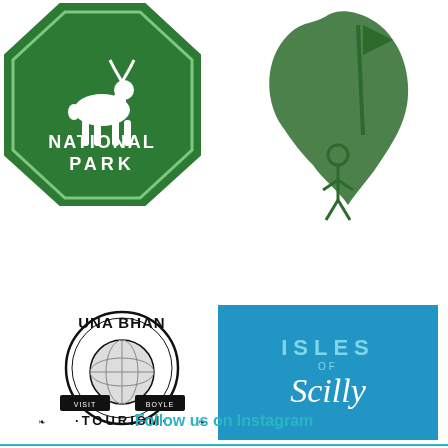[Figure (logo): National Park green octagon logo with deer silhouette and text NATIONAL PARK]
[Figure (illustration): Green illustrated map or figure of a golfer/Ireland shape in dark green]
[Figure (logo): Una Bhan Tourism circular stamp-style logo in black and white with globe, ribbon banner reading VISIT BOYLE, text UNA BHAN TOURISM]
[Figure (logo): Isles of Scilly logo on blue background with text ISLES OF Scilly in light blue and white]
Follow us on Instagram